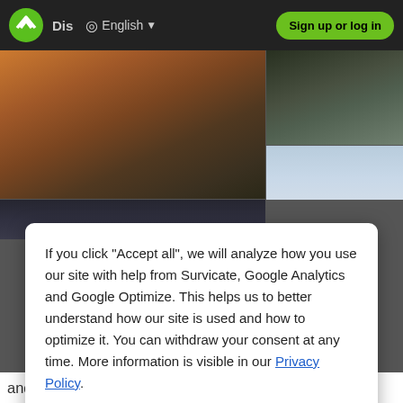[Figure (screenshot): Website navigation bar with logo, Dis text, globe icon, English language selector, and green Sign up or log in button]
[Figure (photo): Mountain landscape photos in background — warm sunset mountains on left, dark alpine mountains top right, pale blue sky bottom right]
If you click "Accept all", we will analyze how you use our site with help from Survicate, Google Analytics and Google Optimize. This helps us to better understand how our site is used and how to optimize it. You can withdraw your consent at any time. More information is visible in our Privacy Policy.
Accept All
Decline
Details
and towns. Especially beautiful are the sunrises up